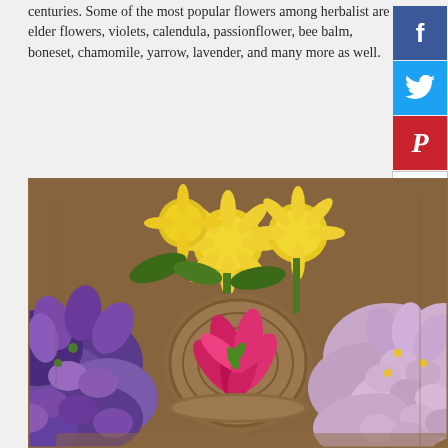centuries. Some of the most popular flowers among herbalist are elder flowers, violets, calendula, passionflower, bee balm, boneset, chamomile, yarrow, lavender, and many more as well.
[Figure (photo): A wicker basket containing various colorful flowers including yellow dandelions, purple violets, pink/red petals, and light purple flowers arranged decoratively.]